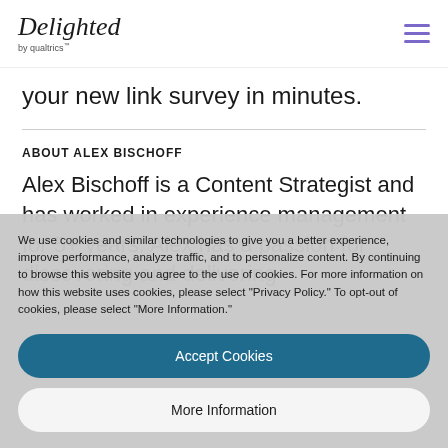Delighted by qualtrics™
your new link survey in minutes.
ABOUT ALEX BISCHOFF
Alex Bischoff is a Content Strategist and has worked in experience management for 5+ years. Alex has a passion for discovering and delivering
We use cookies and similar technologies to give you a better experience, improve performance, analyze traffic, and to personalize content. By continuing to browse this website you agree to the use of cookies. For more information on how this website uses cookies, please select "Privacy Policy." To opt-out of cookies, please select "More Information."
Accept Cookies
More Information